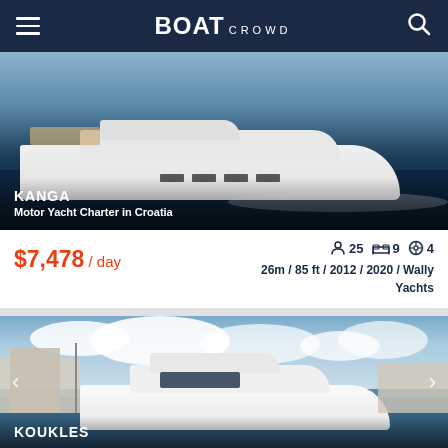BOAT CROWD
[Figure (photo): Aerial/side view of white motor yacht KANGA sailing through dark blue ocean water, Croatia]
KANGA
Motor Yacht Charter in Croatia
$7,478 / day   25 passengers  9 cabins  4 crew   26m / 85 ft / 2012 / 2020 / Wally Yachts
[Figure (photo): Side view of large white motor yacht KOUKLES moored in a harbor with buildings and cloudy sky in background]